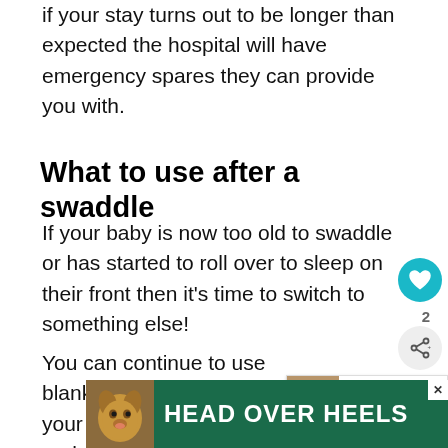if your stay turns out to be longer than expected the hospital will have emergency spares they can provide you with.
What to use after a swaddle
If your baby is now too old to swaddle or has started to roll over to sleep on their front then it's time to switch to something else!
You can continue to use blankets draped over your baby and tucked under their a... however many parents (this one included)
[Figure (infographic): Heart/like button (teal circle with heart icon), share count '2', and share button]
[Figure (infographic): What's Next promotional box with baby image thumbnail and text 'How many baby bottles...']
[Figure (infographic): Advertisement banner: HEAD OVER HEELS with dog image on green background, close button X]